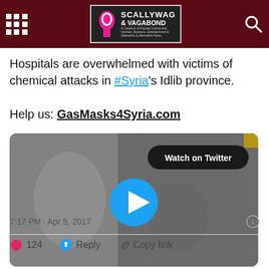Scallywag & Vagabond
Hospitals are overwhelmed with victims of chemical attacks in #Syria's Idlib province.

Help us: GasMasks4Syria.com
[Figure (screenshot): Embedded Twitter video player showing blurred footage of hospital scene with a blue play button in the center and 'Watch on Twitter' button in the top right corner.]
7:17 PM · Apr 5, 2017
124  Reply  Copy link